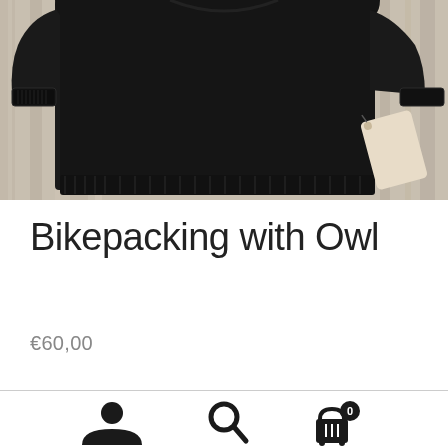[Figure (photo): Product photo of a black crewneck sweatshirt laid flat on a wooden surface background, with a small tag visible on the right side]
Bikepacking with Owl
€60,00
[Figure (infographic): Bottom navigation bar with user account icon, search icon, and shopping cart icon with badge showing 0]